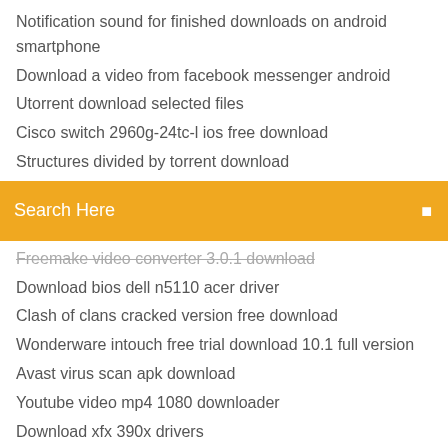Notification sound for finished downloads on android smartphone
Download a video from facebook messenger android
Utorrent download selected files
Cisco switch 2960g-24tc-l ios free download
Structures divided by torrent download
[Figure (screenshot): Orange search bar with 'Search Here' placeholder text and a search icon on the right]
Freemake video converter 3.0.1 download (strikethrough)
Download bios dell n5110 acer driver
Clash of clans cracked version free download
Wonderware intouch free trial download 10.1 full version
Avast virus scan apk download
Youtube video mp4 1080 downloader
Download xfx 390x drivers
Finding how much data in download a file
Backup exec old versions download
Six sigma black belt handbook pdf download torrent
My tiny phone app download